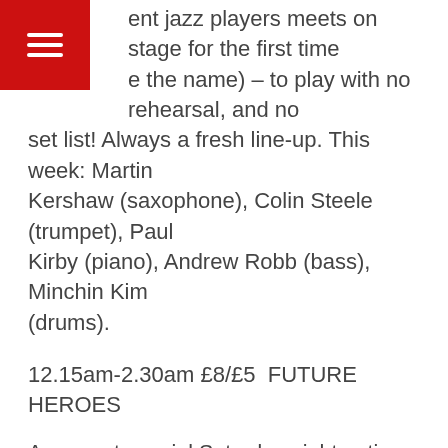[Figure (other): Red square hamburger menu icon in top-left corner with three white horizontal lines]
ent jazz players meets on stage for the first time e the name) – to play with no rehearsal, and no set list! Always a fresh line-up. This week: Martin Kershaw (saxophone), Colin Steele (trumpet), Paul Kirby (piano), Andrew Robb (bass), Minchin Kim (drums).
12.15am-2.30am £8/£5  FUTURE HEROES
A rare yet special Saturday night outing for our Thursday night residents… Aki Remally (guitar, vocals) fronts this five piece groove machine playing two sets of of classic/contemporary funk music. With Jonny White (sax), aided and abetted by Toni McVey (drums), Luke Cunningham (keys) and Tom Wilkinson (bass)… We all gonna get nasty in the groove, and quite frankly, so should you…
PLUS DJ